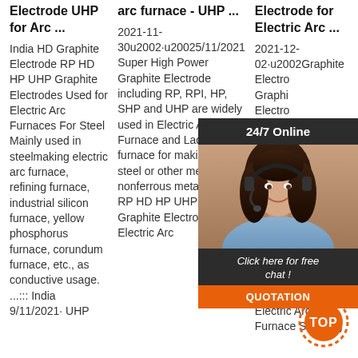Electrode UHP for Arc ...
arc furnace - UHP ...
Electrode for Electric Arc ...
India HD Graphite Electrode RP HD HP UHP Graphite Electrodes Used for Electric Arc Furnaces For Steel Mainly used in steelmaking electric arc furnace, refining furnace, industrial silicon furnace, yellow phosphorus furnace, corundum furnace, etc., as conductive usage. ...::: India 9/11/2021· UHP
2021-11-30u2002·u20025/11/2021 Super High Power Graphite Electrode including RP, RPI, HP, SHP and UHP are widely used in Electric Arc Furnace and Ladle furnace for making alloy steel or other metals and nonferrous metal.:::Buy RP HD HP UHP Grade Graphite Electrode for Electric Arc
2021-12-02·u2002Graphite Electro Graphi Electro Graphi Electro manufa supplie offering Electro EDM B Furna UHP600X2400mm, UHP600X2700mm Graphite Electrodes for Electric Arc Furnace Smelting
[Figure (photo): Chat widget with photo of woman wearing headset, dark background header saying 24/7 Online, subtext Click here for free chat!, and orange QUOTATION button]
[Figure (other): Orange TOP button with circular dotted border in bottom right corner]